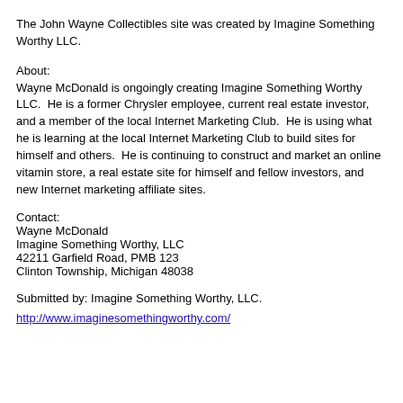The John Wayne Collectibles site was created by Imagine Something Worthy LLC.
About:
Wayne McDonald is ongoingly creating Imagine Something Worthy LLC.  He is a former Chrysler employee, current real estate investor, and a member of the local Internet Marketing Club.  He is using what he is learning at the local Internet Marketing Club to build sites for himself and others.  He is continuing to construct and market an online vitamin store, a real estate site for himself and fellow investors, and new Internet marketing affiliate sites.
Contact:
Wayne McDonald
Imagine Something Worthy, LLC
42211 Garfield Road, PMB 123
Clinton Township, Michigan 48038
Submitted by: Imagine Something Worthy, LLC.
http://www.imaginesomethingworthy.com/